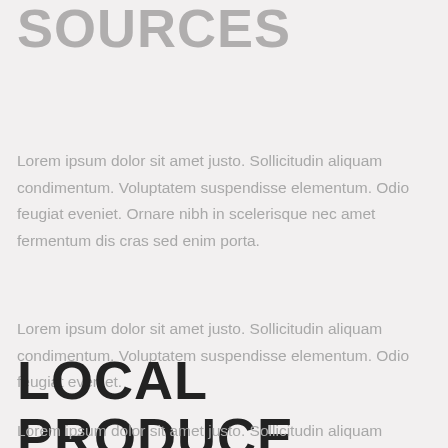SOURCES
Lorem ipsum dolor sit amet justo. Sollicitudin aliquam condimentum. Voluptatem suspendisse elementum. Odio feugiat eveniet. Ornare nibh in scelerisque nec amet fermentum dis cras sed enim porta.
Lorem ipsum dolor sit amet justo. Sollicitudin aliquam condimentum. Voluptatem suspendisse elementum. Odio feugiat eveniet.
LOCAL PRODUCE
Lorem ipsum dolor sit amet justo. Sollicitudin aliquam condimentum. Voluptatem suspendisse elementum. Odio